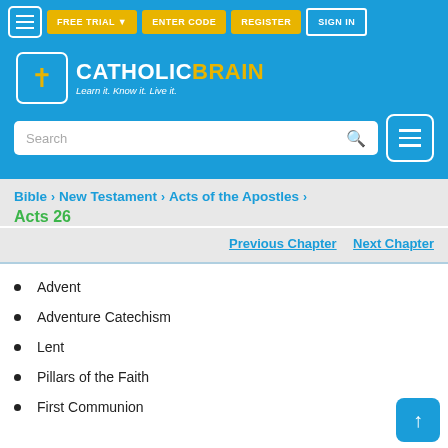[Figure (screenshot): CatholicBrain website header with navigation bar containing menu button, FREE TRIAL, ENTER CODE, REGISTER, and SIGN IN buttons, logo with brain icon and tagline 'Learn it. Know it. Live it.', search box, and right-side menu button]
Bible > New Testament > Acts of the Apostles > Acts 26
Previous Chapter    Next Chapter
Advent
Adventure Catechism
Lent
Pillars of the Faith
First Communion